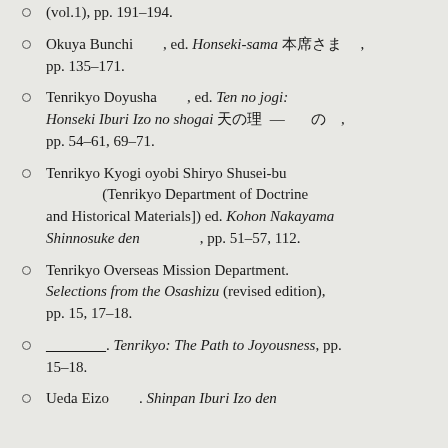(vol.1), pp. 191–194.
Okuya Bunchi　　　, ed. Honseki-sama 本席さ　　, pp. 135–171.
Tenrikyo Doyusha　　　, ed. Ten no jogi: Honseki Iburi Izo no shogai 天の理ー　—　　　　ー　, pp. 54–61, 69–71.
Tenrikyo Kyogi oyobi Shiryo Shusei-bu　　　　　　(Tenrikyo Department of Doctrine and Historical Materials]) ed. Kohon Nakayama Shinnosuke den　　　　　　　, pp. 51–57, 112.
Tenrikyo Overseas Mission Department. Selections from the Osashizu (revised edition), pp. 15, 17–18.
________. Tenrikyo: The Path to Joyousness, pp. 15–18.
Ueda Eizo　　　　. Shinpan Iburi Izo den